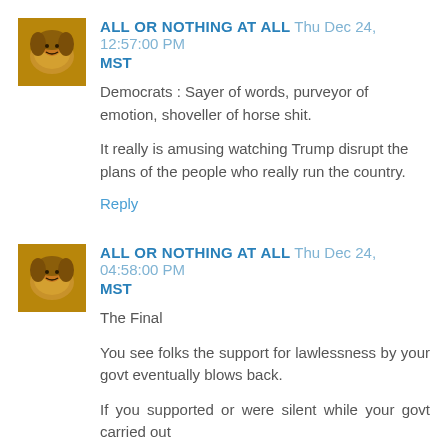ALL OR NOTHING AT ALL  Thu Dec 24, 12:57:00 PM MST
Democrats : Sayer of words, purveyor of emotion, shoveller of horse shit.

It really is amusing watching Trump disrupt the plans of the people who really run the country.
Reply
ALL OR NOTHING AT ALL  Thu Dec 24, 04:58:00 PM MST
The Final

You see folks the support for lawlessness by your govt eventually blows back.

If you supported or were silent while your govt carried out